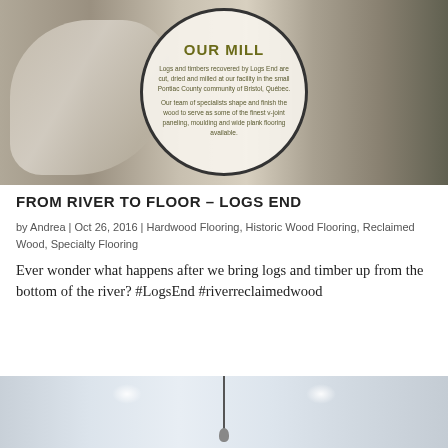[Figure (photo): Photo of logs and timbers with a circular overlay on a beige/cream background. The circle contains the headline 'OUR MILL' and descriptive text about Logs End processing facility in Bristol, Quebec.]
FROM RIVER TO FLOOR – LOGS END
by Andrea | Oct 26, 2016 | Hardwood Flooring, Historic Wood Flooring, Reclaimed Wood, Specialty Flooring
Ever wonder what happens after we bring logs and timber up from the bottom of the river? #LogsEnd #riverreclaimedwood
[Figure (photo): Interior photo showing a white paneled ceiling with recessed lights and a hanging pendant light fixture.]